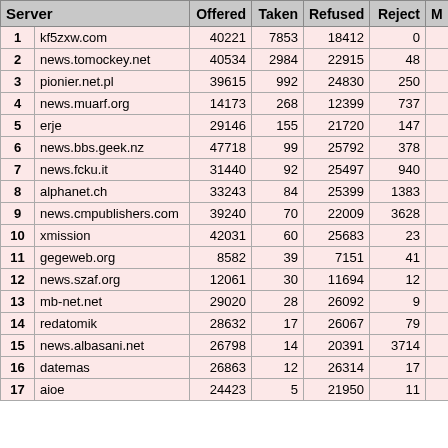|  | Server | Offered | Taken | Refused | Reject | M |
| --- | --- | --- | --- | --- | --- | --- |
| 1 | kf5zxw.com | 40221 | 7853 | 18412 | 0 |  |
| 2 | news.tomockey.net | 40534 | 2984 | 22915 | 48 |  |
| 3 | pionier.net.pl | 39615 | 992 | 24830 | 250 |  |
| 4 | news.muarf.org | 14173 | 268 | 12399 | 737 |  |
| 5 | erje | 29146 | 155 | 21720 | 147 |  |
| 6 | news.bbs.geek.nz | 47718 | 99 | 25792 | 378 |  |
| 7 | news.fcku.it | 31440 | 92 | 25497 | 940 |  |
| 8 | alphanet.ch | 33243 | 84 | 25399 | 1383 |  |
| 9 | news.cmpublishers.com | 39240 | 70 | 22009 | 3628 |  |
| 10 | xmission | 42031 | 60 | 25683 | 23 |  |
| 11 | gegeweb.org | 8582 | 39 | 7151 | 41 |  |
| 12 | news.szaf.org | 12061 | 30 | 11694 | 12 |  |
| 13 | mb-net.net | 29020 | 28 | 26092 | 9 |  |
| 14 | redatomik | 28632 | 17 | 26067 | 79 |  |
| 15 | news.albasani.net | 26798 | 14 | 20391 | 3714 |  |
| 16 | datemas | 26863 | 12 | 26314 | 17 |  |
| 17 | aioe | 24423 | 5 | 21950 | 11 |  |